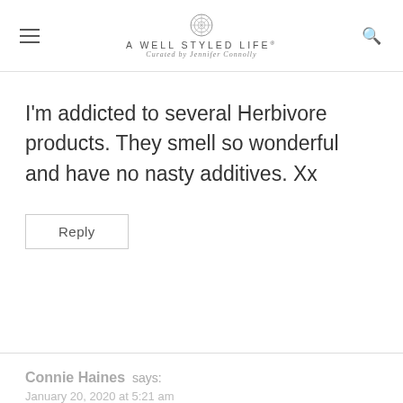A WELL STYLED LIFE® | Curated by Jennifer Connolly
I'm addicted to several Herbivore products. They smell so wonderful and have no nasty additives. Xx
Reply
Connie Haines says:
January 20, 2020 at 5:21 am